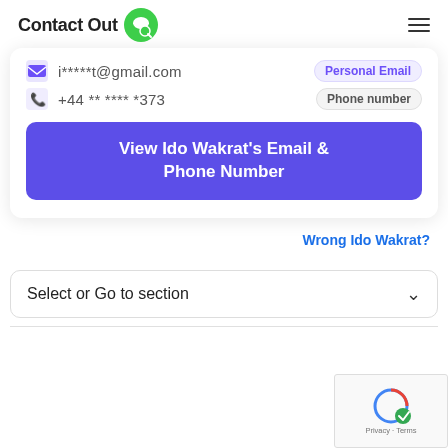ContactOut
i*****t@gmail.com  Personal Email
+44 ** **** *373  Phone number
View Ido Wakrat's Email & Phone Number
Wrong Ido Wakrat?
Select or Go to section